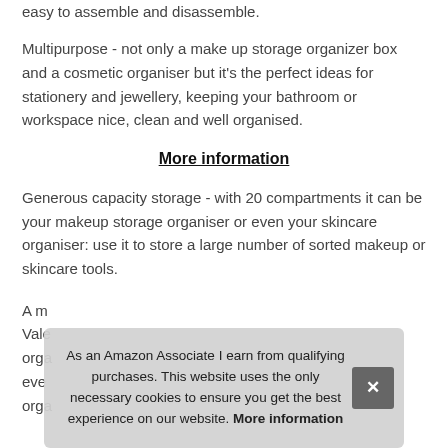easy to assemble and disassemble.
Multipurpose - not only a make up storage organizer box and a cosmetic organiser but it's the perfect ideas for stationery and jewellery, keeping your bathroom or workspace nice, clean and well organised.
More information
Generous capacity storage - with 20 compartments it can be your makeup storage organiser or even your skincare organiser: use it to store a large number of sorted makeup or skincare tools.
A m... Vale... orga... eve... orga...
As an Amazon Associate I earn from qualifying purchases. This website uses the only necessary cookies to ensure you get the best experience on our website. More information